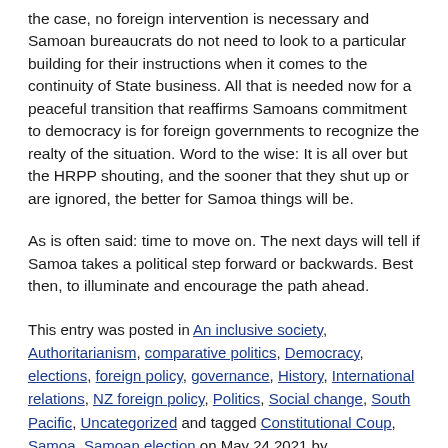the case, no foreign intervention is necessary and Samoan bureaucrats do not need to look to a particular building for their instructions when it comes to the continuity of State business. All that is needed now for a peaceful transition that reaffirms Samoans commitment to democracy is for foreign governments to recognize the realty of the situation. Word to the wise: It is all over but the HRPP shouting, and the sooner that they shut up or are ignored, the better for Samoa things will be.
As is often said: time to move on. The next days will tell if Samoa takes a political step forward or backwards. Best then, to illuminate and encourage the path ahead.
This entry was posted in An inclusive society, Authoritarianism, comparative politics, Democracy, elections, foreign policy, governance, History, International relations, NZ foreign policy, Politics, Social change, South Pacific, Uncategorized and tagged Constitutional Coup, Samoa, Samoan election on May 24 2021 by